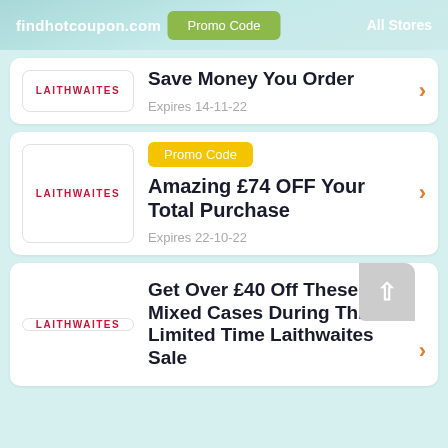findhotcoupon.com  Promo Code  All Stores
LAITHWAITES
Save Money You Order
Expires 14-11-22
Promo Code
LAITHWAITES
Amazing £74 OFF Your Total Purchase
Expires 22-10-22
LAITHWAITES
Get Over £40 Off These Mixed Cases During This Limited Time Laithwaites Sale